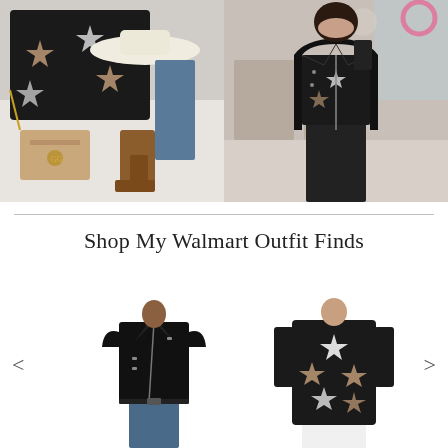[Figure (photo): Flat lay photo showing a black star-print sweatshirt, a white wide-brim hat, brown ankle boots, jeans, and a tan Gucci crossbody bag on a white fur rug]
[Figure (photo): Mirror selfie of a woman wearing a black star-print sweatshirt under a black leather moto jacket with leather leggings, in a modern home setting]
Shop My Walmart Outfit Finds
[Figure (photo): Product photo of a black faux leather moto jacket on a model]
[Figure (photo): Product photo of a black star-print sweater on a model]